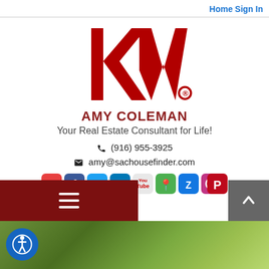Home Sign In
[Figure (logo): Keller Williams KW red logo]
AMY COLEMAN
Your Real Estate Consultant for Life!
(916) 955-3925
amy@sachousefinder.com
[Figure (infographic): Row of social media icons: home/realtor, Facebook, Twitter, LinkedIn, YouTube, map pin, Zillow, Instagram, Pinterest]